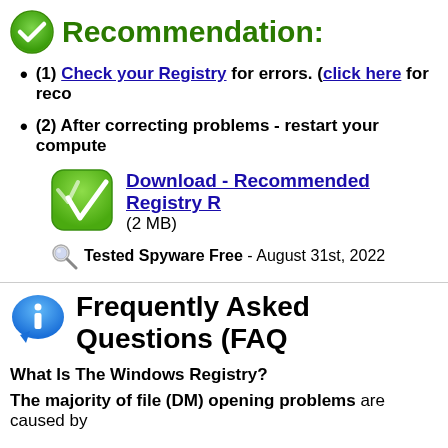Recommendation:
(1) Check your Registry for errors. (click here for reco...
(2) After correcting problems - restart your compute...
[Figure (logo): Green download icon with double checkmark V shape]
Download - Recommended Registry R... (2 MB)
Tested Spyware Free - August 31st, 2022
Frequently Asked Questions (FAQ)
What Is The Windows Registry?
The majority of file (DM) opening problems are caused by...